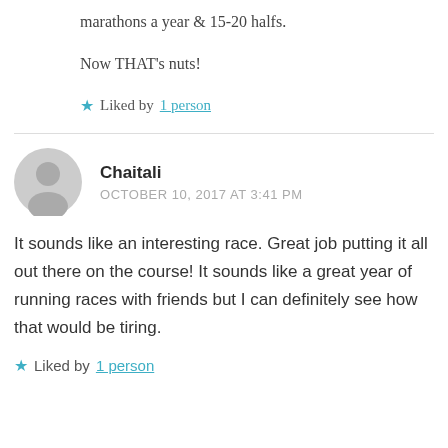marathons a year & 15-20 halfs.
Now THAT's nuts!
★ Liked by 1 person
Chaitali
OCTOBER 10, 2017 AT 3:41 PM
It sounds like an interesting race. Great job putting it all out there on the course! It sounds like a great year of running races with friends but I can definitely see how that would be tiring.
★ Liked by 1 person